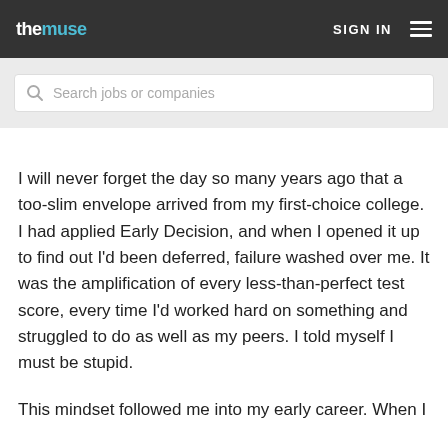themuse | SIGN IN
Search jobs or companies
I will never forget the day so many years ago that a too-slim envelope arrived from my first-choice college. I had applied Early Decision, and when I opened it up to find out I'd been deferred, failure washed over me. It was the amplification of every less-than-perfect test score, every time I'd worked hard on something and struggled to do as well as my peers. I told myself I must be stupid.
This mindset followed me into my early career. When I